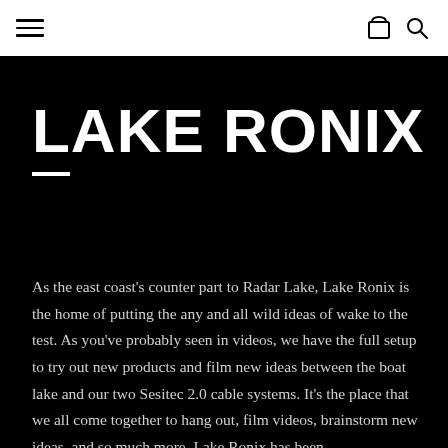Navigation bar with hamburger menu, cart icon, and search icon
LAKE RONIX
As the east coast's counter part to Radar Lake, Lake Ronix is the home of putting the any and all wild ideas of wake to the test. As you've probably seen in videos, we have the full setup to try out new products and film new ideas between the boat lake and our two Sesitec 2.0 cable systems. It's the place that we all come together to hang out, film videos, brainstorm new ideas, and so much more. Lake Ronix has been